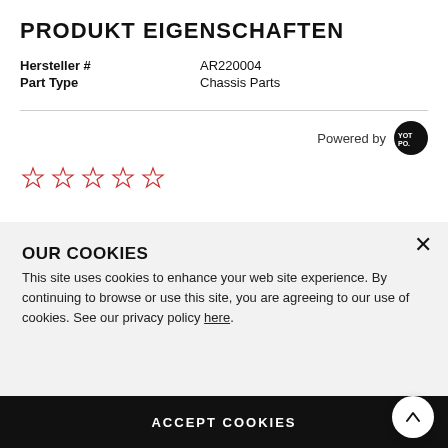PRODUKT EIGENSCHAFTEN
| Hersteller # | AR220004 |
| Part Type | Chassis Parts |
[Figure (other): Powered by Yotpo badge with logo]
[Figure (other): Five empty red star rating icons]
OUR COOKIES
This site uses cookies to enhance your web site experience. By continuing to browse or use this site, you are agreeing to our use of cookies. See our privacy policy here.
ACCEPT COOKIES